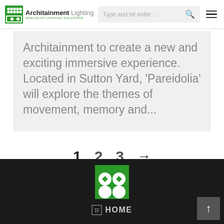Architainment Lighting — Type and hit enter ...
Architainment to create a new and exciting immersive experience. Located in Sutton Yard, ‘Pareidolia’ will explore the themes of movement, memory and…
1  2  3  →
[Figure (logo): Architainment Lighting green logo icon with diamond pattern in footer]
HOME